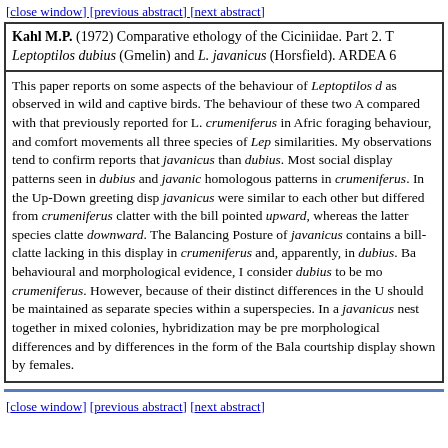[close window] [previous abstract] [next abstract]
Kahl M.P. (1972) Comparative ethology of the Ciciniidae. Part 2. T... Leptoptilos dubius (Gmelin) and L. javanicus (Horsfield). ARDEA 6...
This paper reports on some aspects of the behaviour of Leptoptilos a... as observed in wild and captive birds. The behaviour of these two A... compared with that previously reported for L. crumeniferus in Afric... foraging behaviour, and comfort movements all three species of Lep... similarities. My observations tend to confirm reports that javanicus ... than dubius. Most social display patterns seen in dubius and javanic... homologous patterns in crumeniferus. In the Up-Down greeting disp... javanicus were similar to each other but differed from crumeniferus... clatter with the bill pointed upward, whereas the latter species clatte... downward. The Balancing Posture of javanicus contains a bill-clatte... lacking in this display in crumeniferus and, apparently, in dubius. Ba... behavioural and morphological evidence, I consider dubius to be mo... crumeniferus. However, because of their distinct differences in the U... should be maintained as separate species within a superspecies. In a... javanicus nest together in mixed colonies, hybridization may be pre... morphological differences and by differences in the form of the Bala... courtship display shown by females.
[close window] [previous abstract] [next abstract]